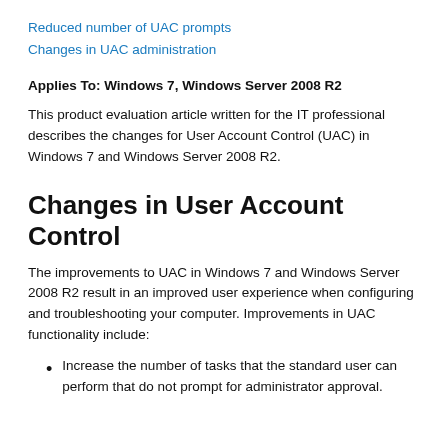Reduced number of UAC prompts
Changes in UAC administration
Applies To: Windows 7, Windows Server 2008 R2
This product evaluation article written for the IT professional describes the changes for User Account Control (UAC) in Windows 7 and Windows Server 2008 R2.
Changes in User Account Control
The improvements to UAC in Windows 7 and Windows Server 2008 R2 result in an improved user experience when configuring and troubleshooting your computer. Improvements in UAC functionality include:
Increase the number of tasks that the standard user can perform that do not prompt for administrator approval.